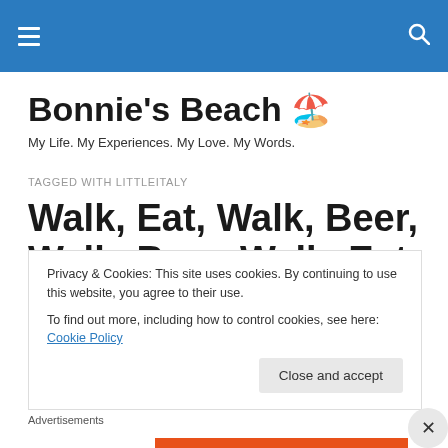Bonnie's Beach [navigation bar]
Bonnie's Beach 🏖️
My Life. My Experiences. My Love. My Words.
TAGGED WITH LITTLEITALY
Walk, Eat, Walk, Beer, Walk, Beer. Walk. Eat. Walk. Walk.
Privacy & Cookies: This site uses cookies. By continuing to use this website, you agree to their use.
To find out more, including how to control cookies, see here: Cookie Policy
Advertisements